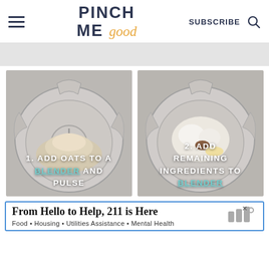Pinch Me Good — SUBSCRIBE
[Figure (photo): Overhead view of a blender with ground oats powder inside, labeled '1. ADD OATS TO A BLENDER AND PULSE']
[Figure (photo): Overhead view of a blender with banana, yogurt and other ingredients inside, labeled '2. ADD REMAINING INGREDIENTS TO BLENDER']
From Hello to Help, 211 is Here
Food • Housing • Utilities Assistance • Mental Health